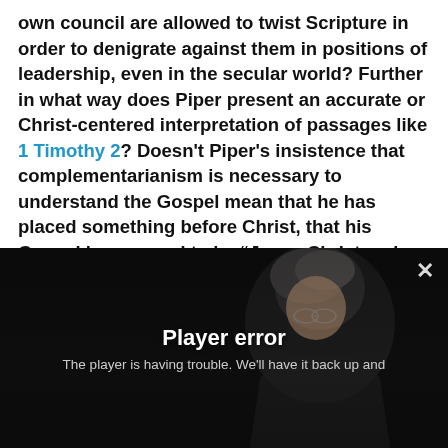own council are allowed to twist Scripture in order to denigrate against them in positions of leadership, even in the secular world? Further in what way does Piper present an accurate or Christ-centered interpretation of passages like 1 Timothy 2? Doesn't Piper's insistence that complementarianism is necessary to understand the Gospel mean that he has placed something before Christ, that his Gospel has ceased to be “Jesus Christ and him crucified” (1 Cor 2:2)? Does the TGC believe that there is no true Gospel without complementarian theology?
[Figure (screenshot): Video player showing an elderly man with white/grey hair, dark background. Player error overlay with text 'Player error' and 'The player is having trouble. We'll have it back up and' visible at the bottom. A close (X) button is in the top right.]